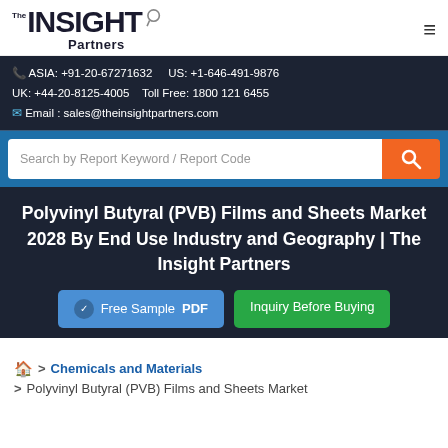The INSIGHT Partners
ASIA: +91-20-67271632   US: +1-646-491-9876
UK: +44-20-8125-4005   Toll Free: 1800 121 6455
Email : sales@theinsightpartners.com
Search by Report Keyword / Report Code
Polyvinyl Butyral (PVB) Films and Sheets Market 2028 By End Use Industry and Geography | The Insight Partners
Free Sample PDF   Inquiry Before Buying
> Chemicals and Materials
> Polyvinyl Butyral (PVB) Films and Sheets Market